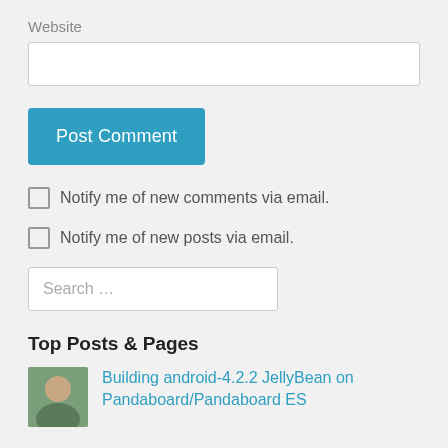Website
[Figure (screenshot): Empty text input field for website URL]
[Figure (screenshot): Post Comment button, blue background, white text]
Notify me of new comments via email.
Notify me of new posts via email.
[Figure (screenshot): Search input field with placeholder text 'Search ...']
Top Posts & Pages
Building android-4.2.2 JellyBean on Pandaboard/Pandaboard ES